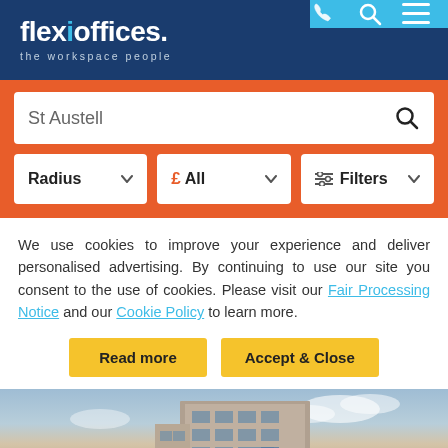[Figure (logo): Flexioffices logo with tagline 'the workspace people' on dark blue background with light blue right section containing phone, search and menu icons]
[Figure (screenshot): Search interface with 'St Austell' in search box, and three filter dropdowns: Radius, £ All, and Filters, on orange background]
We use cookies to improve your experience and deliver personalised advertising. By continuing to use our site you consent to the use of cookies. Please visit our Fair Processing Notice and our Cookie Policy to learn more.
[Figure (photo): Photograph of a modern multi-story office building against a blue sky with clouds]